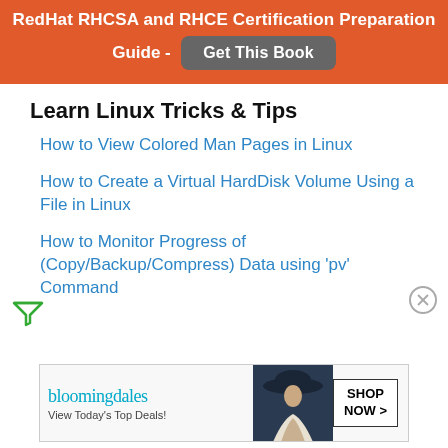RedHat RHCSA and RHCE Certification Preparation Guide - Get This Book
Learn Linux Tricks & Tips
How to View Colored Man Pages in Linux
How to Create a Virtual HardDisk Volume Using a File in Linux
How to Monitor Progress of (Copy/Backup/Compress) Data using 'pv' Command
[Figure (other): Bloomingdale's advertisement banner: 'bloomingdales View Today's Top Deals!' with a woman in a hat and 'SHOP NOW >' button]